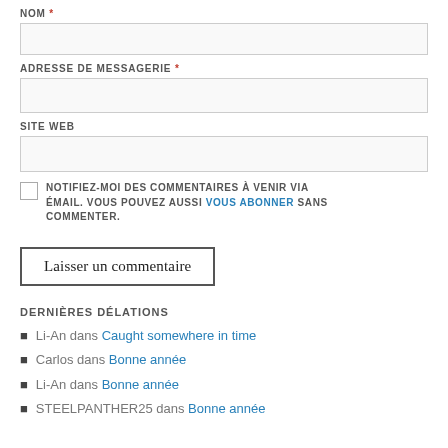NOM *
[Figure (other): NOM input field (text box)]
ADRESSE DE MESSAGERIE *
[Figure (other): ADRESSE DE MESSAGERIE input field (text box)]
SITE WEB
[Figure (other): SITE WEB input field (text box)]
NOTIFIEZ-MOI DES COMMENTAIRES À VENIR VIA EMAIL. VOUS POUVEZ AUSSI VOUS ABONNER SANS COMMENTER.
Laisser un commentaire
DERNIÈRES DÉLATIONS
Li-An dans Caught somewhere in time
Carlos dans Bonne année
Li-An dans Bonne année
STEELPANTHER25 dans Bonne année